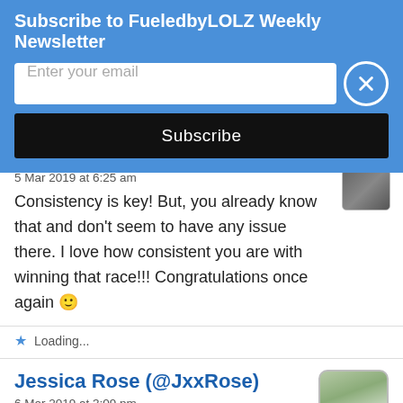Subscribe to FueledbyLOLZ Weekly Newsletter
Enter your email
Subscribe
5 Mar 2019 at 6:25 am
Consistency is key! But, you already know that and don't seem to have any issue there. I love how consistent you are with winning that race!!! Congratulations once again 🙂
Loading...
Jessica Rose (@JxxRose)
6 Mar 2019 at 3:09 pm
[Figure (photo): Avatar thumbnail of outdoor scene]
Congrats on your win! What do your core workouts consist of?